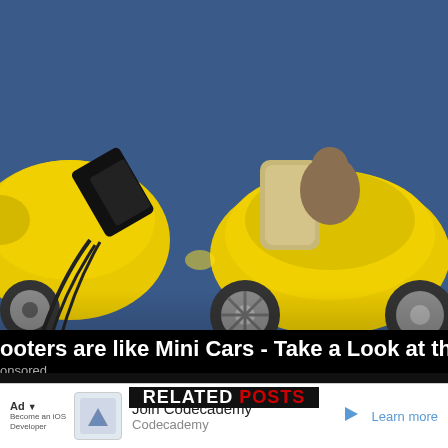[Figure (photo): Yellow concept mini cars on blue floor, one open showing interior seats]
ooters are like Mini Cars - Take a Look at the Price
onsored
RELATED POSTS
[Figure (photo): Sepia-toned outdoor landscape photo with cloudy sky and figure in background]
[Figure (screenshot): Ad banner: Join Codecademy - Codecademy - Learn more]